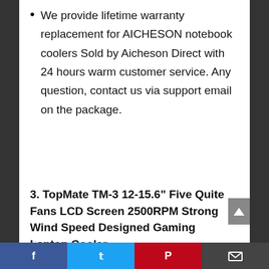We provide lifetime warranty replacement for AICHESON notebook coolers Sold by Aicheson Direct with 24 hours warm customer service. Any question, contact us via support email on the package.
3. TopMate TM-3 12-15.6" Five Quite Fans LCD Screen 2500RPM Strong Wind Speed Designed Gaming Laptop Cooler